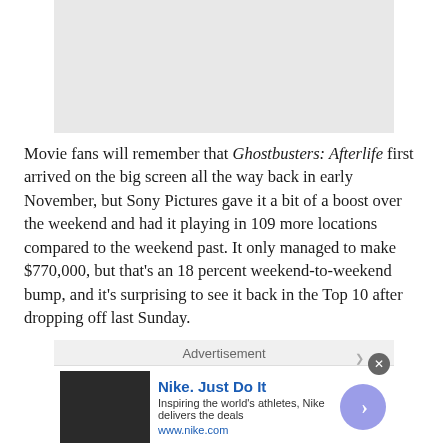[Figure (photo): Gray placeholder image area at top of page]
Movie fans will remember that Ghostbusters: Afterlife first arrived on the big screen all the way back in early November, but Sony Pictures gave it a bit of a boost over the weekend and had it playing in 109 more locations compared to the weekend past. It only managed to make $770,000, but that's an 18 percent weekend-to-weekend bump, and it's surprising to see it back in the Top 10 after dropping off last Sunday.
[Figure (screenshot): Advertisement banner - Nike. Just Do It. Inspiring the world's athletes, Nike delivers the deals. www.nike.com]